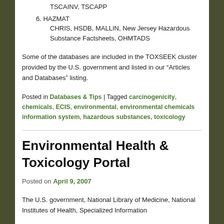TSCAINV, TSCAPP
6. HAZMAT
CHRIS, HSDB, MALLIN, New Jersey Hazardous Substance Factsheets, OHMTADS
Some of the databases are included in the TOXSEEK cluster provided by the U.S. government and listed in our “Articles and Databases” listing.
Posted in Databases & Tips | Tagged carcinogenicity, chemicals, ECIS, environmental, environmental chemicals information system, hazardous substances, toxicology
Environmental Health & Toxicology Portal
Posted on April 9, 2007
The U.S. government, National Library of Medicine, National Institutes of Health, Specialized Information